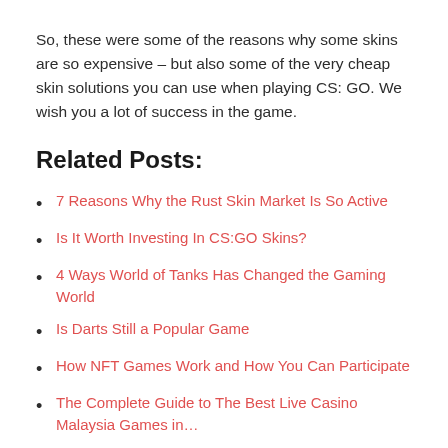So, these were some of the reasons why some skins are so expensive – but also some of the very cheap skin solutions you can use when playing CS: GO. We wish you a lot of success in the game.
Related Posts:
7 Reasons Why the Rust Skin Market Is So Active
Is It Worth Investing In CS:GO Skins?
4 Ways World of Tanks Has Changed the Gaming World
Is Darts Still a Popular Game
How NFT Games Work and How You Can Participate
The Complete Guide to The Best Live Casino Malaysia Games in…